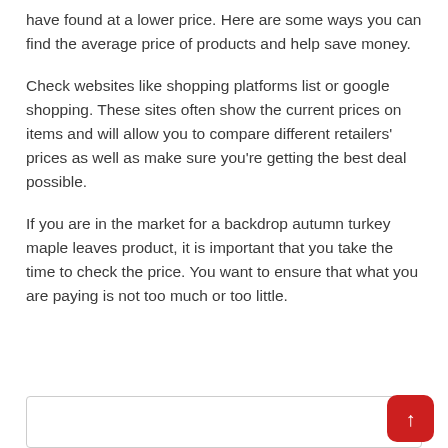have found at a lower price. Here are some ways you can find the average price of products and help save money.
Check websites like shopping platforms list or google shopping. These sites often show the current prices on items and will allow you to compare different retailers' prices as well as make sure you're getting the best deal possible.
If you are in the market for a backdrop autumn turkey maple leaves product, it is important that you take the time to check the price. You want to ensure that what you are paying is not too much or too little.